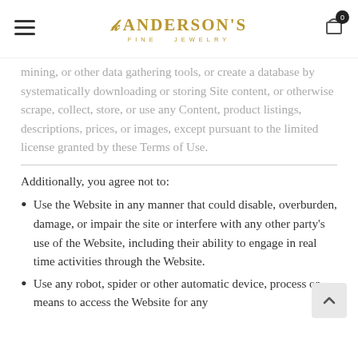Anderson's Fine Jewelry
mining, or other data gathering tools, or create a database by systematically downloading or storing Site content, or otherwise scrape, collect, store, or use any Content, product listings, descriptions, prices, or images, except pursuant to the limited license granted by these Terms of Use.
Additionally, you agree not to:
Use the Website in any manner that could disable, overburden, damage, or impair the site or interfere with any other party's use of the Website, including their ability to engage in real time activities through the Website.
Use any robot, spider or other automatic device, process or means to access the Website for any